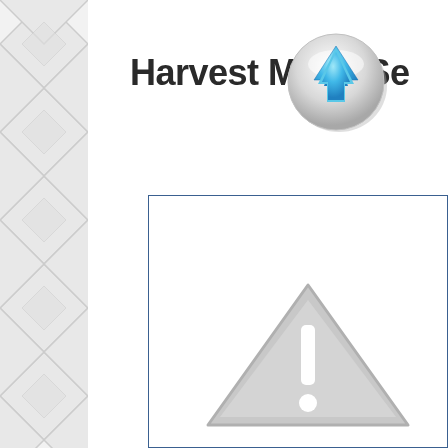[Figure (illustration): Left sidebar with a diamond/lattice pattern in light gray on white background]
Harvest M[arrow button]n Se
[Figure (other): A circular button/icon with an upward-pointing blue arrow, glossy gray circle style, overlapping the title text]
[Figure (other): A bordered white content box with a large gray warning triangle icon (exclamation mark) in the lower right area]